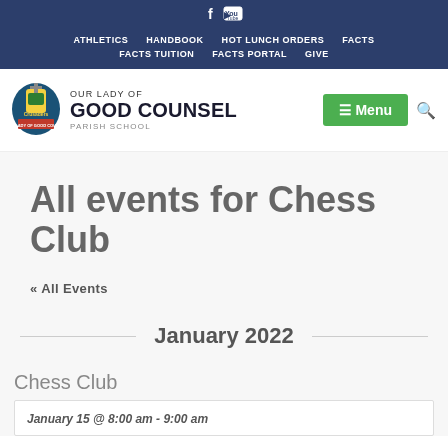f  YouTube
ATHLETICS  HANDBOOK  HOT LUNCH ORDERS  FACTS  FACTS TUITION  FACTS PORTAL  GIVE
[Figure (logo): Our Lady of Good Counsel Parish School logo - Crusaders knight mascot]
OUR LADY OF GOOD COUNSEL PARISH SCHOOL
All events for Chess Club
« All Events
January 2022
Chess Club
January 15 @ 8:00 am - 9:00 am